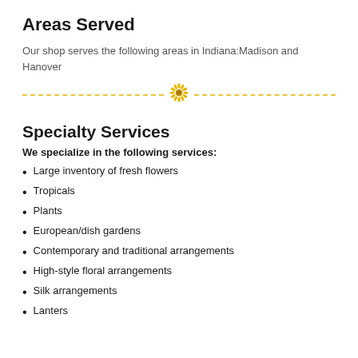Areas Served
Our shop serves the following areas in Indiana:Madison and Hanover
Specialty Services
We specialize in the following services:
Large inventory of fresh flowers
Tropicals
Plants
European/dish gardens
Contemporary and traditional arrangements
High-style floral arrangements
Silk arrangements
Lanters